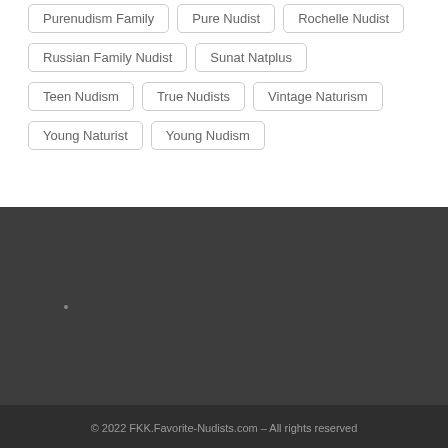Purenudism Family
Pure Nudist
Rochelle Nudist
Russian Family Nudist
Sunat Natplus
Teen Nudism
True Nudists
Vintage Naturism
Young Naturist
Young Nudism
© 2022 FKK.Favorite-Nudists.com – All rights reserved